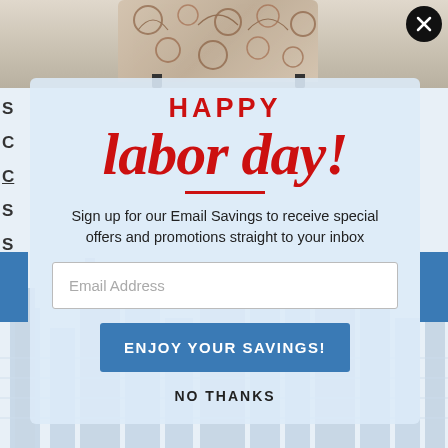[Figure (screenshot): Happy Labor Day promotional popup modal on a furniture website. Shows a modal with red 'HAPPY' text, large cursive 'labor day!' text in red, a red horizontal divider line, body text prompting email signup, an email address input field, a blue 'ENJOY YOUR SAVINGS!' button, and a 'NO THANKS' link. Background shows a city skyline image. Top shows partial view of a patterned chair/ottoman. Close button (X) in top right corner.]
HAPPY labor day!
Sign up for our Email Savings to receive special offers and promotions straight to your inbox
Email Address
ENJOY YOUR SAVINGS!
NO THANKS